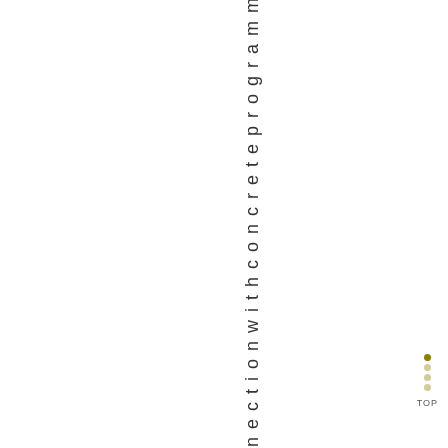nnectionwithconcreteprogramm
TOP